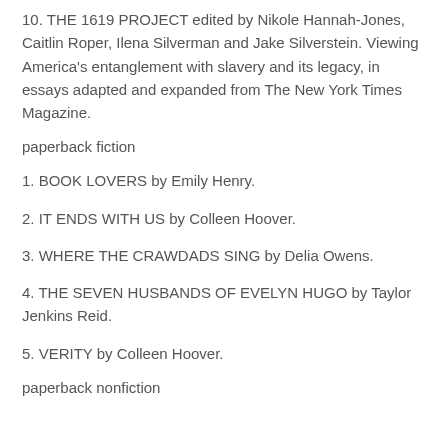10. THE 1619 PROJECT edited by Nikole Hannah-Jones, Caitlin Roper, Ilena Silverman and Jake Silverstein. Viewing America's entanglement with slavery and its legacy, in essays adapted and expanded from The New York Times Magazine.
paperback fiction
1. BOOK LOVERS by Emily Henry.
2. IT ENDS WITH US by Colleen Hoover.
3. WHERE THE CRAWDADS SING by Delia Owens.
4. THE SEVEN HUSBANDS OF EVELYN HUGO by Taylor Jenkins Reid.
5. VERITY by Colleen Hoover.
paperback nonfiction